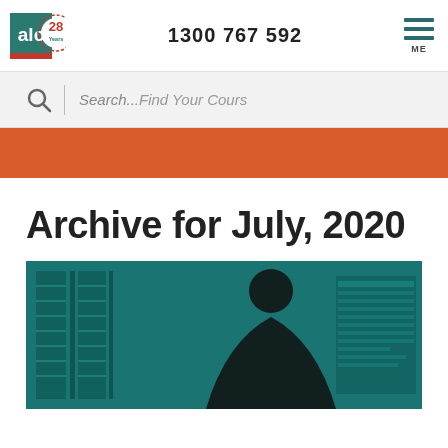[Figure (logo): ALC logo with teal background showing 'alc' text and '28 Years' anniversary badge]
1300 767 592
[Figure (other): Hamburger menu icon with MENU label]
[Figure (other): Search bar with magnifying glass icon and text 'Search...Find Your Course']
[Figure (other): Orange/rust colored banner strip]
Archive for July, 2020
[Figure (photo): Dark teal-tinted photo of a person silhouette in front of server racks or data center equipment]